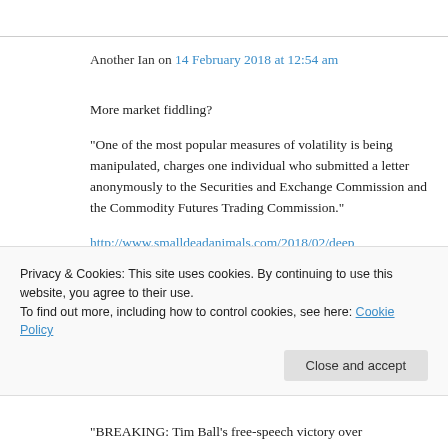Another Ian on 14 February 2018 at 12:54 am
More market fiddling?
“One of the most popular measures of volatility is being manipulated, charges one individual who submitted a letter anonymously to the Securities and Exchange Commission and the Commodity Futures Trading Commission.”
http://www.smalldeadanimals.com/2018/02/deep
Privacy & Cookies: This site uses cookies. By continuing to use this website, you agree to their use.
To find out more, including how to control cookies, see here: Cookie Policy
“BREAKING: Tim Ball’s free-speech victory over